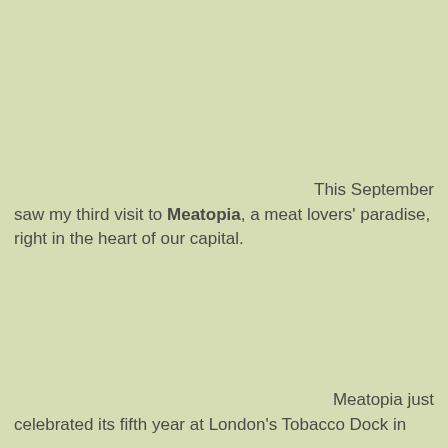This September saw my third visit to Meatopia, a meat lovers' paradise, right in the heart of our capital.
Meatopia just celebrated its fifth year at London's Tobacco Dock in